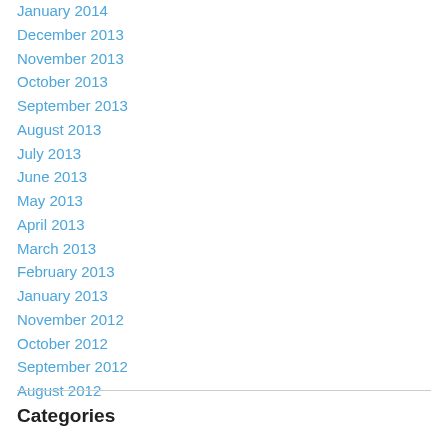January 2014
December 2013
November 2013
October 2013
September 2013
August 2013
July 2013
June 2013
May 2013
April 2013
March 2013
February 2013
January 2013
November 2012
October 2012
September 2012
August 2012
Categories